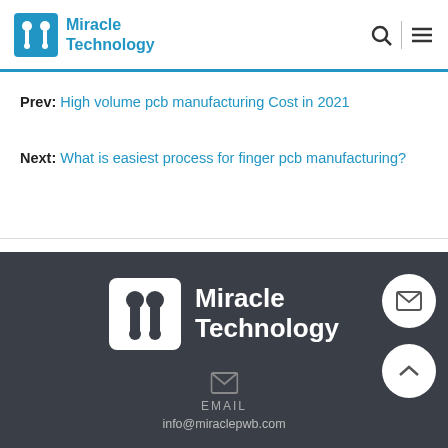Miracle Technology
Prev: High volume pcb manufacturing Cost in 2021
Next: What is easiest process for finger pcb manufacturing?
[Figure (logo): Miracle Technology white logo with icon on dark footer background]
EMAIL
info@miraclepwb.com